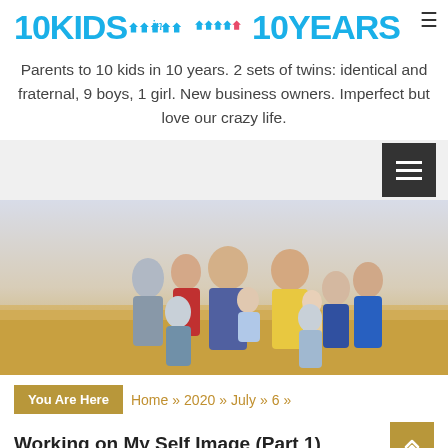10 KIDS in 10 YEARS
Parents to 10 kids in 10 years. 2 sets of twins: identical and fraternal, 9 boys, 1 girl. New business owners. Imperfect but love our crazy life.
[Figure (photo): A large family photo showing two parents and eight children posing outdoors in a field with golden wheat and a light sky background.]
You Are Here  Home » 2020 » July » 6 »
Working on My Self Image (Part 1)